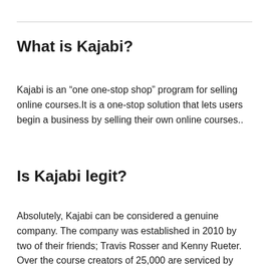What is Kajabi?
Kajabi is an “one one-stop shop” program for selling online courses.It is a one-stop solution that lets users begin a business by selling their own online courses..
Is Kajabi legit?
Absolutely, Kajabi can be considered a genuine company. The company was established in 2010 by two of their friends; Travis Rosser and Kenny Rueter. Over the course creators of 25,000 are serviced by